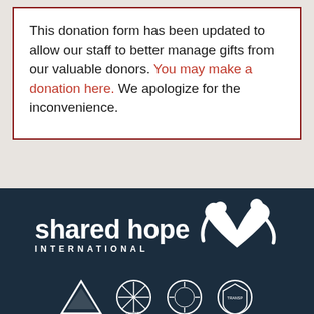This donation form has been updated to allow our staff to better manage gifts from our valuable donors. You may make a donation here. We apologize for the inconvenience.
[Figure (logo): Shared Hope International logo — white wordmark 'shared hope' in bold with 'INTERNATIONAL' in spaced capitals beneath, and a white icon of two figures forming a heart shape, on a dark navy background. Below are four small accreditation/badge logos.]